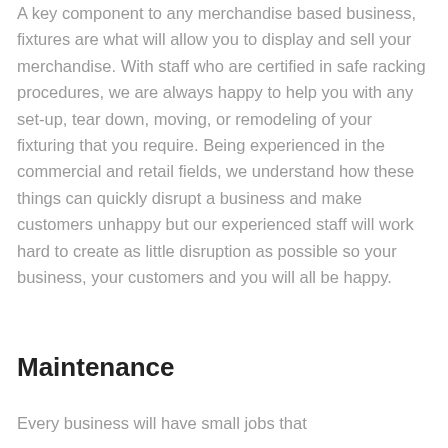A key component to any merchandise based business, fixtures are what will allow you to display and sell your merchandise. With staff who are certified in safe racking procedures, we are always happy to help you with any set-up, tear down, moving, or remodeling of your fixturing that you require. Being experienced in the commercial and retail fields, we understand how these things can quickly disrupt a business and make customers unhappy but our experienced staff will work hard to create as little disruption as possible so your business, your customers and you will all be happy.
Maintenance
Every business will have small jobs that